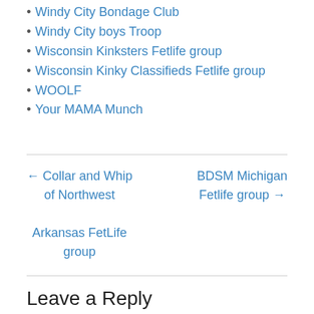Windy City Bondage Club
Windy City boys Troop
Wisconsin Kinksters Fetlife group
Wisconsin Kinky Classifieds Fetlife group
WOOLF
Your MAMA Munch
← Collar and Whip of Northwest Arkansas FetLife group
BDSM Michigan Fetlife group →
Leave a Reply